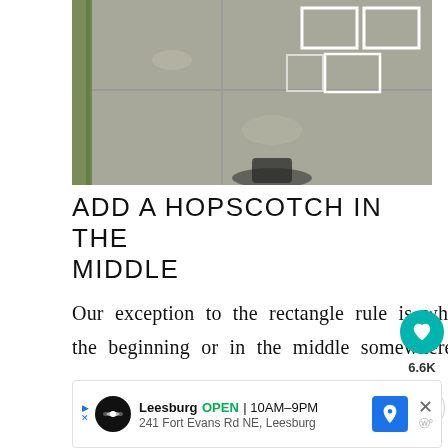[Figure (photo): Aerial/overhead view of a concrete sidewalk/driveway with chalk hopscotch squares drawn in white. Green plant growth visible along a crack on the left. A shadow of a person is visible at the bottom.]
ADD A HOPSCOTCH IN THE MIDDLE
Our exception to the rectangle rule is when it's a hopscotch board. I like to add one at the beginning or in the middle somewhere.